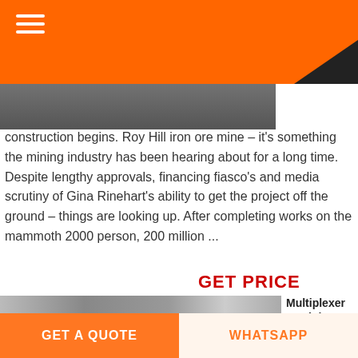[Figure (photo): Partial view of a mining site or industrial floor, photographed from above, with an orange navigation bar overlay at the top containing a hamburger menu icon.]
construction begins. Roy Hill iron ore mine – it's something the mining industry has been hearing about for a long time. Despite lengthy approvals, financing fiasco's and media scrutiny of Gina Rinehart's ability to get the project off the ground – things are looking up. After completing works on the mammoth 2000 person, 200 million ...
GET PRICE
[Figure (photo): Photo of a large industrial mining machine (cone crusher or similar) inside a building with glass walls. A sign reading 'STOR' is visible on the right side.]
Multiplexer In Mining Project
Multiplexer
In Mining
Project Jan
GET A QUOTE
WHATSAPP